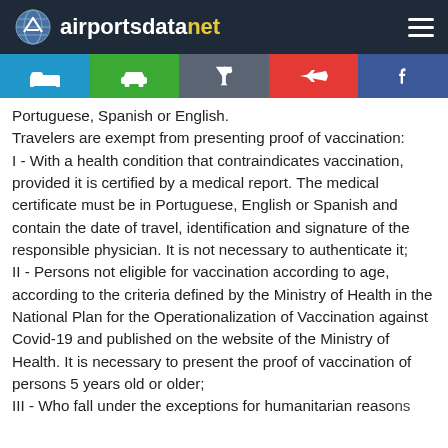airportsdatanet
Portuguese, Spanish or English.
Travelers are exempt from presenting proof of vaccination:
I - With a health condition that contraindicates vaccination, provided it is certified by a medical report. The medical certificate must be in Portuguese, English or Spanish and contain the date of travel, identification and signature of the responsible physician. It is not necessary to authenticate it;
II - Persons not eligible for vaccination according to age, according to the criteria defined by the Ministry of Health in the National Plan for the Operationalization of Vaccination against Covid-19 and published on the website of the Ministry of Health. It is necessary to present the proof of vaccination of persons 5 years old or older;
III - Who fall under the exceptions for humanitarian reasons...